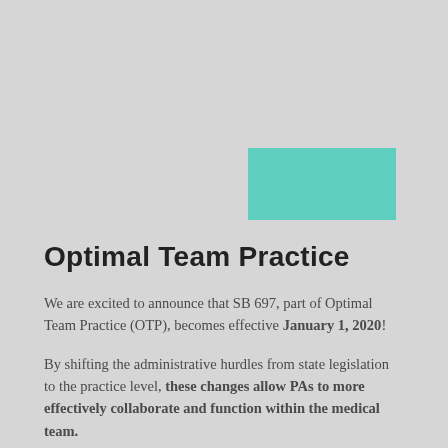[Figure (other): Teal/turquoise decorative rectangle in upper right area of page]
Optimal Team Practice
We are excited to announce that SB 697, part of Optimal Team Practice (OTP), becomes effective January 1, 2020!
By shifting the administrative hurdles from state legislation to the practice level, these changes allow PAs to more effectively collaborate and function within the medical team.
Here are the main changes and improvements that will take effect: